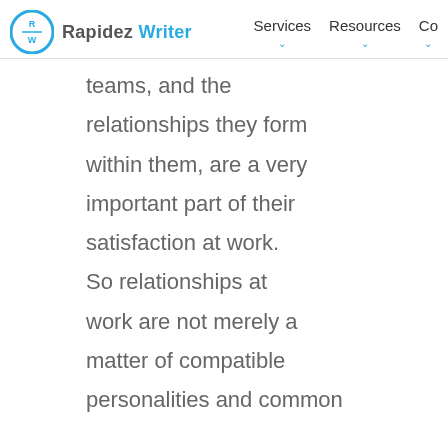Rapidez Writer — Services Resources Co…
teams, and the relationships they form within them, are a very important part of their satisfaction at work. So relationships at work are not merely a matter of compatible personalities and common